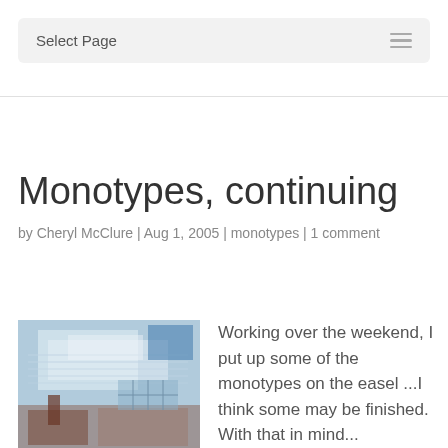Select Page
Monotypes, continuing
by Cheryl McClure | Aug 1, 2005 | monotypes | 1 comment
[Figure (photo): Abstract monotype artwork with blue, white, and brown paint layers showing architectural elements]
Working over the weekend, I put up some of the monotypes on the easel ...I think some may be finished. With that in mind...